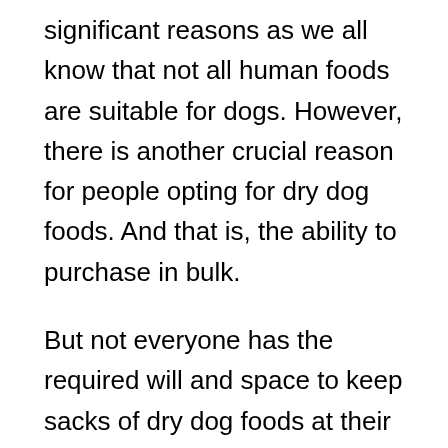significant reasons as we all know that not all human foods are suitable for dogs. However, there is another crucial reason for people opting for dry dog foods. And that is, the ability to purchase in bulk.
But not everyone has the required will and space to keep sacks of dry dog foods at their home. Besides that, they destroy the aesthetics of the house. Furthermore, your brilliant dog, with its highly sensitive nose has a high chance to locate its delicious dog food anywhere if kept in the open.